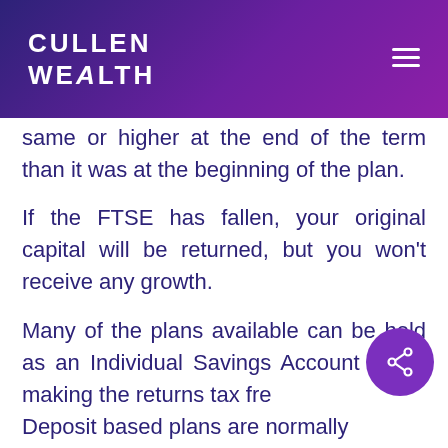CULLEN WEALTH
same or higher at the end of the term than it was at the beginning of the plan.
If the FTSE has fallen, your original capital will be returned, but you won't receive any growth.
Many of the plans available can be held as an Individual Savings Account (ISA), making the returns tax free. Deposit based plans are normally